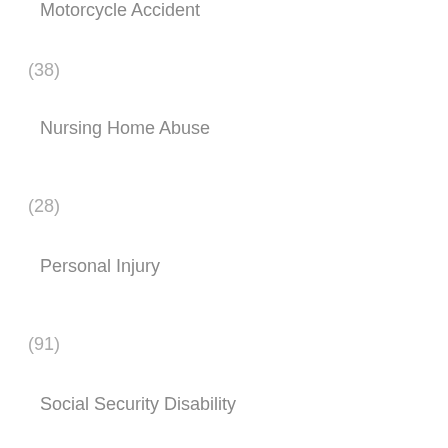Motorcycle Accident
(38)
Nursing Home Abuse
(28)
Personal Injury
(91)
Social Security Disability
(24)
Truck Accident
(36)
Uncategorized
(2)
Veterans Disability Benefits
(17)
Wrongful Death